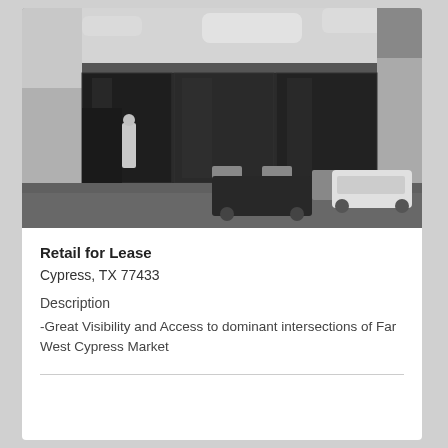[Figure (photo): Black and white photograph of a modern retail strip center with large glass storefront windows, a person standing near the entrance, outdoor seating/signage in the foreground, and a white car parked to the right.]
Retail for Lease
Cypress, TX 77433
Description
-Great Visibility and Access to dominant intersections of Far West Cypress Market